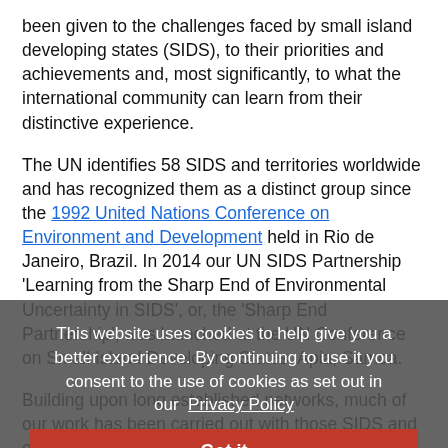been given to the challenges faced by small island developing states (SIDS), to their priorities and achievements and, most significantly, to what the international community can learn from their distinctive experience.
The UN identifies 58 SIDS and territories worldwide and has recognized them as a distinct group since the 1992 United Nations Conference on Environment and Development held in Rio de Janeiro, Brazil. In 2014 our UN SIDS Partnership 'Learning from the Sharp End of Environmental Uncertainty in SIDS', or, the 'Sharp End Partnership', was launched at the UN Conference on Small Island Developing States, Apia, Samoa.
Building upon long established networks, much of our work has been carried out with those SIDS and other small states that are also Commonwealth members. Thirty-two of the 54 members of the Commonwealth
This website uses cookies to help give you a better experience. By continuing to use it you consent to the use of cookies as set out in our Privacy Policy